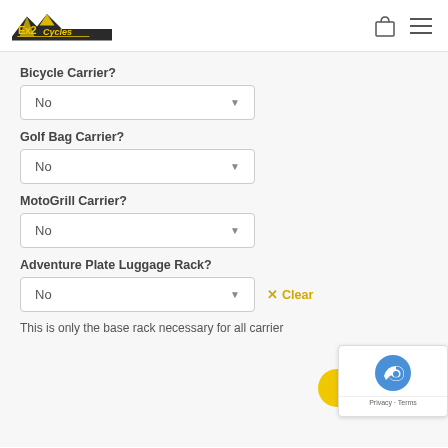Ex2Cycles logo, shopping bag icon, menu icon
Bicycle Carrier?
No
Golf Bag Carrier?
No
MotoGrill Carrier?
No
Adventure Plate Luggage Rack?
No
× Clear
This is only the base rack necessary for all carrier